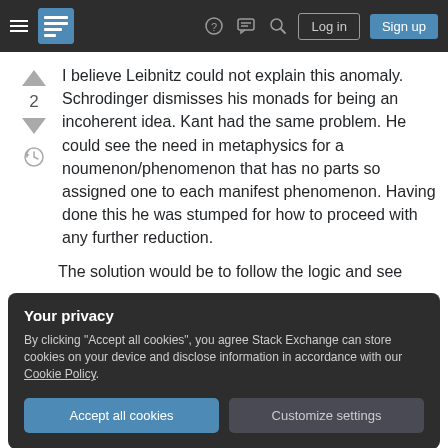Navigation bar with hamburger menu, Stack Exchange logo, help, chat, search icons, Log in and Sign up buttons
I believe Leibnitz could not explain this anomaly. Schrodinger dismisses his monads for being an incoherent idea. Kant had the same problem. He could see the need in metaphysics for a noumenon/phenomenon that has no parts so assigned one to each manifest phenomenon. Having done this he was stumped for how to proceed with any further reduction.
The solution would be to follow the logic and see
Your privacy
By clicking "Accept all cookies", you agree Stack Exchange can store cookies on your device and disclose information in accordance with our Cookie Policy.
"One way out is the multiplication of the world in